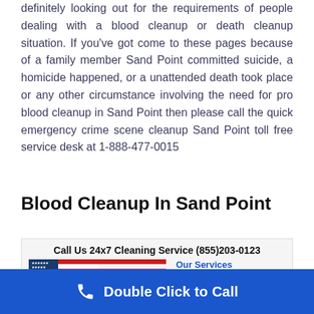definitely looking out for the requirements of people dealing with a blood cleanup or death cleanup situation. If you've got come to these pages because of a family member Sand Point committed suicide, a homicide happened, or a unattended death took place or any other circumstance involving the need for pro blood cleanup in Sand Point then please call the quick emergency crime scene cleanup Sand Point toll free service desk at 1-888-477-0015
Blood Cleanup In Sand Point
[Figure (infographic): Banner with US flag map graphic on left and 'Our Services' list on right. Header: 'Call Us 24x7 Cleaning Service (855)203-0123'. Services listed: Crime Scene Cleanup, Blood Cleanup.]
Double Click to Call